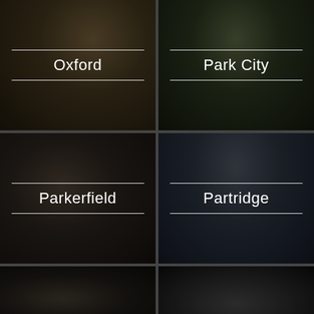[Figure (photo): Oxford neighborhood - exterior of tan/beige stucco house with landscaping, darkened overlay with label]
[Figure (photo): Park City neighborhood - elegant house exterior with arched entry and stone pathway, darkened overlay with label]
[Figure (photo): Parkerfield neighborhood - interior living room with white sofa and zebra print pillows, darkened overlay with label]
[Figure (photo): Partridge neighborhood - craftsman style house exterior with brown siding and blue windows, darkened overlay with label]
[Figure (photo): Partial view of interior room - bottom left, partially visible]
[Figure (photo): Partial view of exterior or interior scene - bottom right, partially visible]